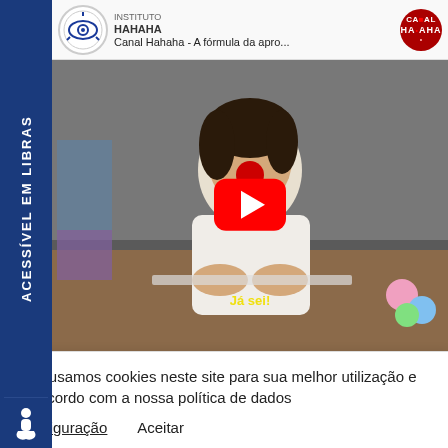[Figure (screenshot): YouTube video bar showing Instituto Haha channel logo, title 'Canal Hahaha - A fórmula da apro...' and Canal Hahaha badge on the right]
[Figure (photo): Video thumbnail of a person in a white lab coat with a red clown nose seated at a desk, with a large YouTube red play button overlay. Yellow subtitle text reads 'Já sei!']
NEWSLETTER HAHAHA
nsira seu e-mail
ACESSÍVEL EM LIBRAS
Nós usamos cookies neste site para sua melhor utilização e de acordo com a nossa política de dados
Configuração   Aceitar